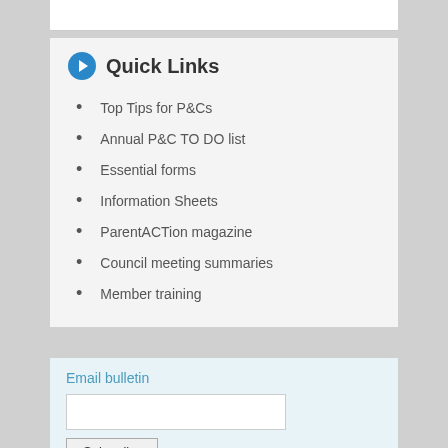Quick Links
Top Tips for P&Cs
Annual P&C TO DO list
Essential forms
Information Sheets
ParentACTion magazine
Council meeting summaries
Member training
Email bulletin
Subscribe